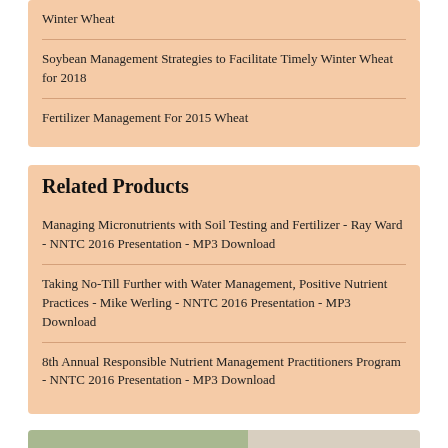Winter Wheat
Soybean Management Strategies to Facilitate Timely Winter Wheat for 2018
Fertilizer Management For 2015 Wheat
Related Products
Managing Micronutrients with Soil Testing and Fertilizer - Ray Ward - NNTC 2016 Presentation - MP3 Download
Taking No-Till Further with Water Management, Positive Nutrient Practices - Mike Werling - NNTC 2016 Presentation - MP3 Download
8th Annual Responsible Nutrient Management Practitioners Program - NNTC 2016 Presentation - MP3 Download
[Figure (advertisement): GS3 Quality Seed advertisement with text 'THE SUPERIOR SOURCE FOR' on green background with GS3 logo]